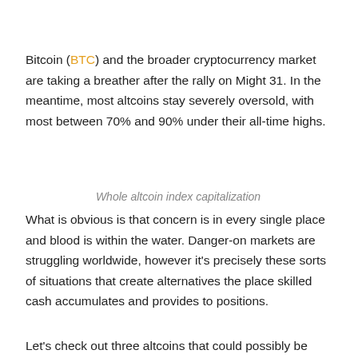Bitcoin (BTC) and the broader cryptocurrency market are taking a breather after the rally on Might 31. In the meantime, most altcoins stay severely oversold, with most between 70% and 90% under their all-time highs.
Whole altcoin index capitalization
What is obvious is that concern is in every single place and blood is within the water. Danger-on markets are struggling worldwide, however it's precisely these sorts of situations that create alternatives the place skilled cash accumulates and provides to positions.
Let's check out three altcoins that could possibly be positioned for